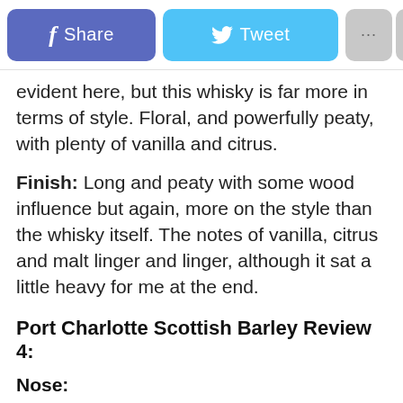[Figure (screenshot): Social sharing toolbar with Facebook Share button (blue-purple), Twitter Tweet button (light blue), a '...' more button (grey), and X close button (grey)]
evident here, but this whisky is far more in terms of style. Floral, and powerfully peaty, with plenty of vanilla and citrus.
Finish: Long and peaty with some wood influence but again, more on the style than the whisky itself. The notes of vanilla, citrus and malt linger and linger, although it sat a little heavy for me at the end.
Port Charlotte Scottish Barley Review 4:
Nose:
Port Charlotte Scottish Barley – Floral, with peat and